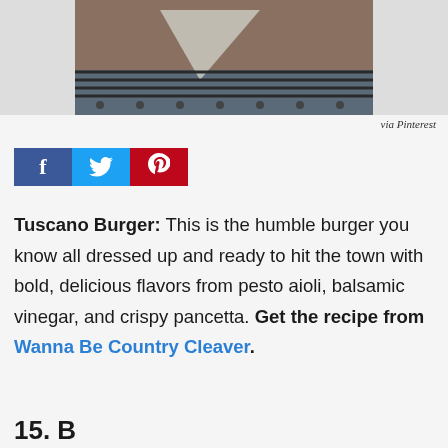[Figure (photo): Close-up photo of a burger on a grill with parchment paper, bricks and metal grill grate visible in background]
via Pinterest
[Figure (infographic): Social sharing buttons: Facebook (blue), Twitter (light blue), Pinterest (red)]
Tuscano Burger: This is the humble burger you know all dressed up and ready to hit the town with bold, delicious flavors from pesto aioli, balsamic vinegar, and crispy pancetta. Get the recipe from Wanna Be Country Cleaver.
15. Burger Devotion: Something...